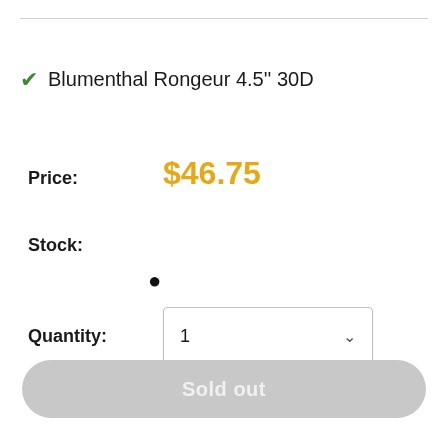Blumenthal Rongeur 4.5'' 30D
Price: $46.75
Stock: ●
Quantity: 1
Sold out